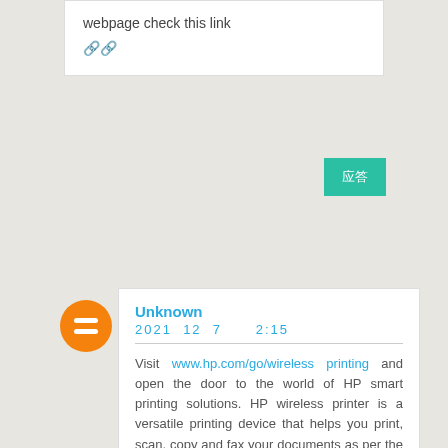webpage check this link 🔗🔗
[Figure (other): Teal reply button with text]
[Figure (logo): Blogger orange circular logo with B icon]
Unknown
2021 12 7   2:15
Visit www.hp.com/go/wirelessprinting and open the door to the world of HP smart printing solutions. HP wireless printer is a versatile printing device that helps you print, scan, copy and fax your documents as per the requirement.
Visit ij.start.canon |